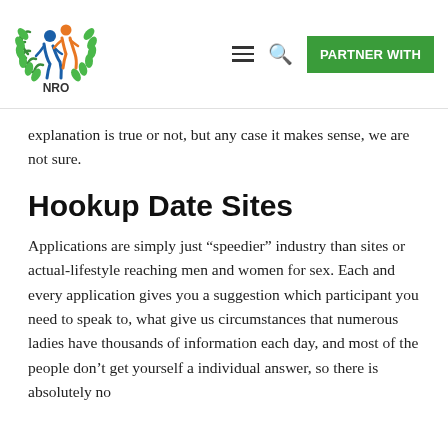[Figure (logo): NRO organization logo with green laurel wreath, orange and blue figures, and NRO text at bottom]
explanation is true or not, but any case it makes sense, we are not sure.
Hookup Date Sites
Applications are simply just “speedier” industry than sites or actual-lifestyle reaching men and women for sex. Each and every application gives you a suggestion which participant you need to speak to, what give us circumstances that numerous ladies have thousands of information each day, and most of the people don’t get yourself a individual answer, so there is absolutely no